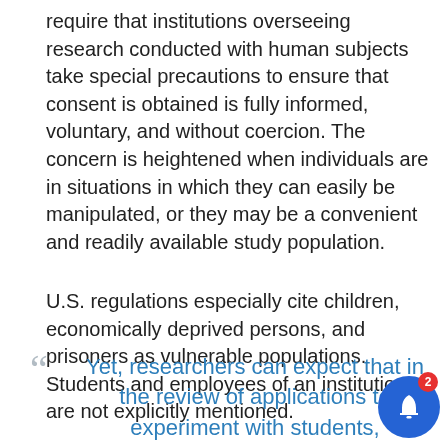require that institutions overseeing research conducted with human subjects take special precautions to ensure that consent is obtained is fully informed, voluntary, and without coercion. The concern is heightened when individuals are in situations in which they can easily be manipulated, or they may be a convenient and readily available study population.
U.S. regulations especially cite children, economically deprived persons, and prisoners as vulnerable populations. Students and employees of an institution are not explicitly mentioned.
“ Yet, researchers can expect that in the review of applications to experiment with students, consideration will be given to how consent is obtained